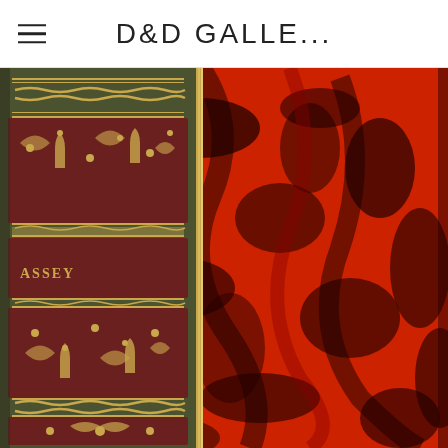D&D GALLE...
[Figure (photo): Close-up photograph of an antique book showing the spine and front cover. The spine features decorative gold tooling on dark olive/green leather with ornate floral and geometric patterns and partial text reading 'ASSEY'. The front cover displays a marbled paper pattern in deep red and black swirling tones.]